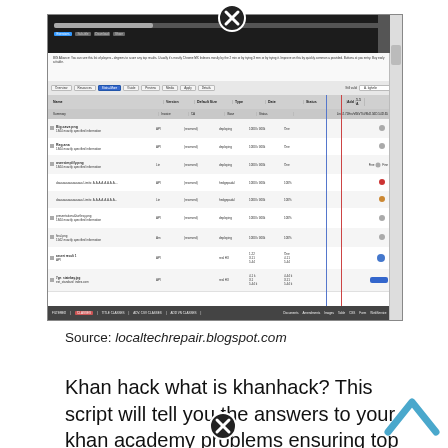[Figure (screenshot): Screenshot of a Khan Academy exercise/progress tracking interface showing a spreadsheet-like table with student exercise data, file names, statuses, types, dates, and a right panel with a red vertical line. Above it is a video player bar with controls.]
Source: localtechrepair.blogspot.com
Khan hack what is khanhack? This script will tell you the answers to your khan academy problems ensuring top grades every time!